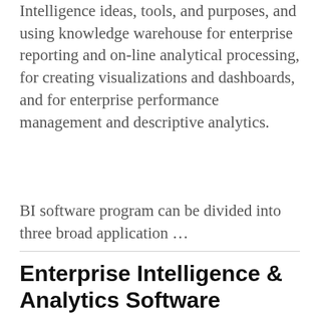Intelligence ideas, tools, and purposes, and using knowledge warehouse for enterprise reporting and on-line analytical processing, for creating visualizations and dashboards, and for enterprise performance management and descriptive analytics.
BI software program can be divided into three broad application …
Enterprise Intelligence & Analytics Software